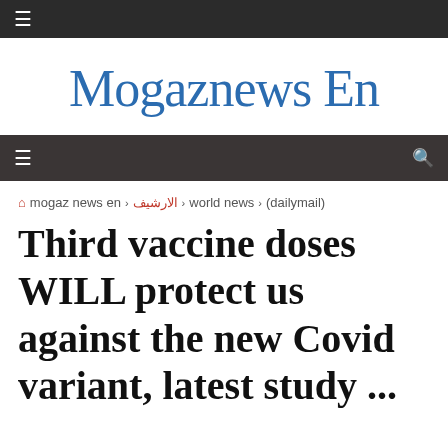☰
Mogaznews En
☰  🔍
🏠 mogaz news en › الارشيف › world news › (dailymail)
Third vaccine doses WILL protect us against the new Covid variant, latest study ...